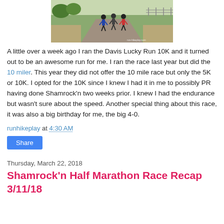[Figure (photo): Runners on a paved path outdoors, trees and grass visible in background, watermark 'run-hikeplay.com' in corner]
A little over a week ago I ran the Davis Lucky Run 10K and it turned out to be an awesome run for me. I ran the race last year but did the 10 miler. This year they did not offer the 10 mile race but only the 5K or 10K. I opted for the 10K since I knew I had it in me to possibly PR having done Shamrock'n two weeks prior. I knew I had the endurance but wasn't sure about the speed. Another special thing about this race, it was also a big birthday for me, the big 4-0.
runhikeplay at 4:30 AM
Share
Thursday, March 22, 2018
Shamrock'n Half Marathon Race Recap 3/11/18